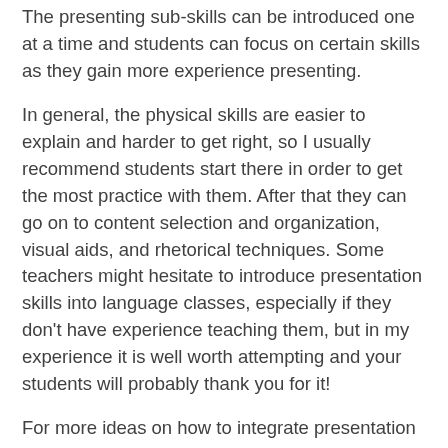The presenting sub-skills can be introduced one at a time and students can focus on certain skills as they gain more experience presenting.
In general, the physical skills are easier to explain and harder to get right, so I usually recommend students start there in order to get the most practice with them. After that they can go on to content selection and organization, visual aids, and rhetorical techniques. Some teachers might hesitate to introduce presentation skills into language classes, especially if they don't have experience teaching them, but in my experience it is well worth attempting and your students will probably thank you for it!
For more ideas on how to integrate presentation into your classes, take a look at Stretch, the new course that features a dedicated presenting skills strand.
To celebrate the launch of Stretch I'm asking students all over the world to enter The Stretch Presenting Skills